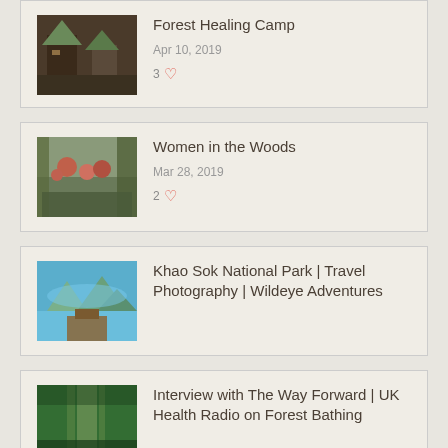Forest Healing Camp
Apr 10, 2019
3 ♡
Women in the Woods
Mar 28, 2019
Khao Sok National Park | Travel Photography | Wildeye Adventures
Interview with The Way Forward | UK Health Radio on Forest Bathing